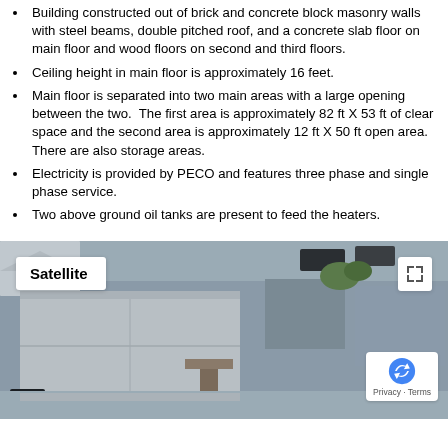Building constructed out of brick and concrete block masonry walls with steel beams, double pitched roof, and a concrete slab floor on main floor and wood floors on second and third floors.
Ceiling height in main floor is approximately 16 feet.
Main floor is separated into two main areas with a large opening between the two. The first area is approximately 82 ft X 53 ft of clear space and the second area is approximately 12 ft X 50 ft open area. There are also storage areas.
Electricity is provided by PECO and features three phase and single phase service.
Two above ground oil tanks are present to feed the heaters.
[Figure (screenshot): Google Maps satellite view of a commercial/industrial building with rooftops visible from above, with a 'Satellite' badge overlay, expand icon, and reCAPTCHA badge with Privacy and Terms links.]